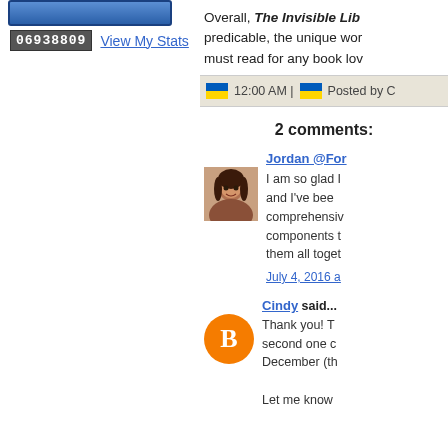[Figure (other): Blue rectangular button/widget at top left (partially visible)]
06938809  View My Stats
Overall, The Invisible Lib predicable, the unique wor must read for any book lov
12:00 AM |  Posted by C
2 comments:
Jordan @For
I am so glad I and I've bee comprehensiv components t them all toget
July 4, 2016 a
Cindy said...
Thank you! T second one c December (th
Let me know